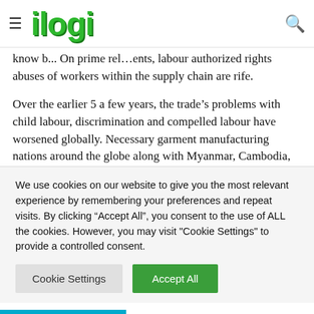ilogi (logo navigation bar)
know b... On prime rel... ents, labour authorized rights abuses of workers within the supply chain are rife.
Over the earlier 5 a few years, the trade’s problems with child labour, discrimination and compelled labour have worsened globally. Necessary garment manufacturing nations around the globe along with Myanmar, Cambodia, Bangladesh and Vietnam are considered an “excessive
We use cookies on our website to give you the most relevant experience by remembering your preferences and repeat visits. By clicking “Accept All”, you consent to the use of ALL the cookies. However, you may visit "Cookie Settings" to provide a controlled consent.
Cookie Settings
Accept All